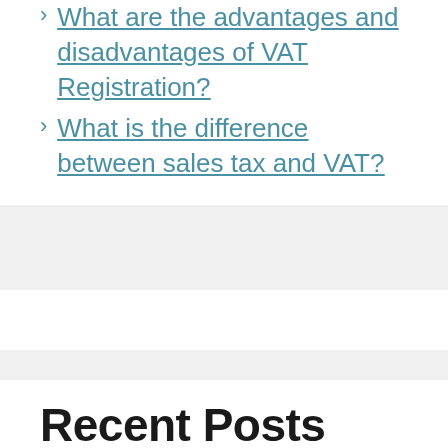What are the advantages and disadvantages of VAT Registration?
What is the difference between sales tax and VAT?
Recent Posts
Which one of the following items is an example of a symbol in “Bernice Bobs Her Hair”?
In which year does the population of the...